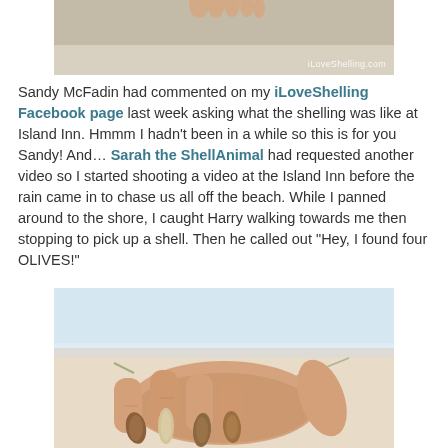[Figure (photo): Top portion of a beach photo showing sand and toes/feet, with iLoveShelling.com watermark]
Sandy McFadin had commented on my iLoveShelling Facebook page last week asking what the shelling was like at Island Inn. Hmmm I hadn't been in a while so this is for you Sandy! And... Sarah the ShellAnimal had requested another video so I started shooting a video at the Island Inn before the rain came in to chase us all off the beach. While I panned around to the shore, I caught Harry walking towards me then stopping to pick up a shell. Then he called out “Hey, I found four OLIVES!”
[Figure (photo): A hand holding four small olive shells on a beach background]